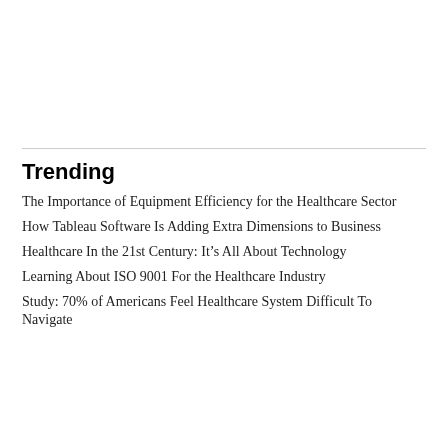Trending
The Importance of Equipment Efficiency for the Healthcare Sector
How Tableau Software Is Adding Extra Dimensions to Business
Healthcare In the 21st Century: It’s All About Technology
Learning About ISO 9001 For the Healthcare Industry
Study: 70% of Americans Feel Healthcare System Difficult To Navigate